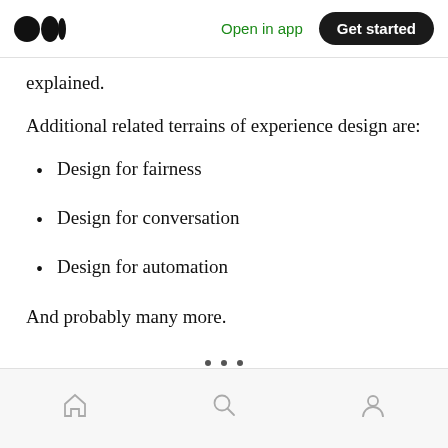Medium app header — Open in app | Get started
explained.
Additional related terrains of experience design are:
Design for fairness
Design for conversation
Design for automation
And probably many more.
Bottom navigation bar with home, search, and profile icons